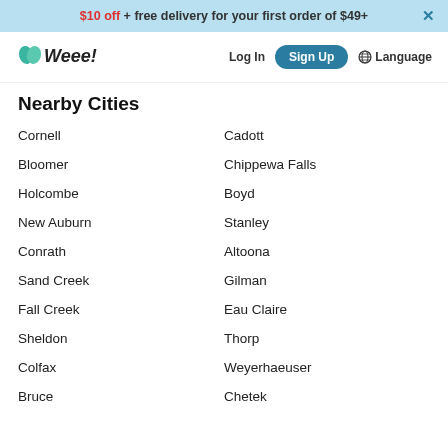$10 off + free delivery for your first order of $49+
[Figure (logo): Weee! grocery delivery service logo with green leaf icon]
Nearby Cities
Cornell
Cadott
Bloomer
Chippewa Falls
Holcombe
Boyd
New Auburn
Stanley
Conrath
Altoona
Sand Creek
Gilman
Fall Creek
Eau Claire
Sheldon
Thorp
Colfax
Weyerhaeuser
Bruce
Chetek